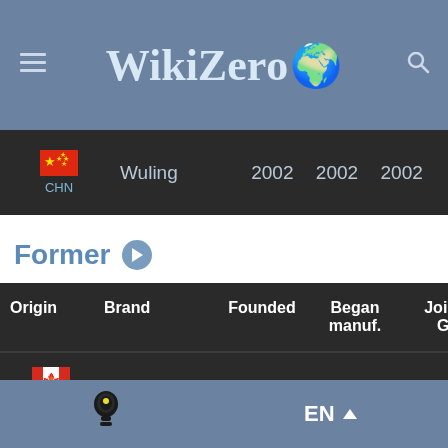WikiZero
| Origin | Brand | Founded | Began manuf. | Joined GM |
| --- | --- | --- | --- | --- |
| CHN | Wuling | 2002 | 2002 | 2002 |
Former
| Origin | Brand | Founded | Began manuf. | Joined GM |
| --- | --- | --- | --- | --- |
| CAN | Acadian | 1962 | 1962 | 1962 |
EN